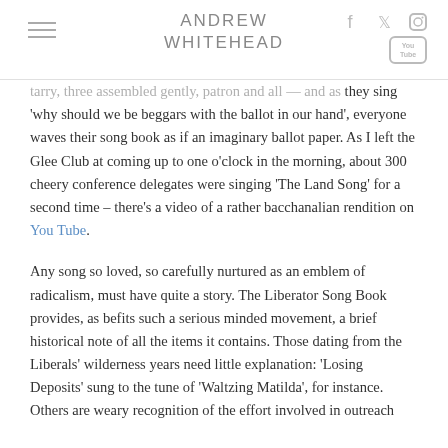ANDREW WHITEHEAD
tarry, three assembled gently, patron and all — and as they sing 'why should we be beggars with the ballot in our hand', everyone waves their song book as if an imaginary ballot paper. As I left the Glee Club at coming up to one o'clock in the morning, about 300 cheery conference delegates were singing 'The Land Song' for a second time – there's a video of a rather bacchanalian rendition on You Tube.
Any song so loved, so carefully nurtured as an emblem of radicalism, must have quite a story. The Liberator Song Book provides, as befits such a serious minded movement, a brief historical note of all the items it contains. Those dating from the Liberals' wilderness years need little explanation: 'Losing Deposits' sung to the tune of 'Waltzing Matilda', for instance. Others are weary recognition of the effort involved in outreach